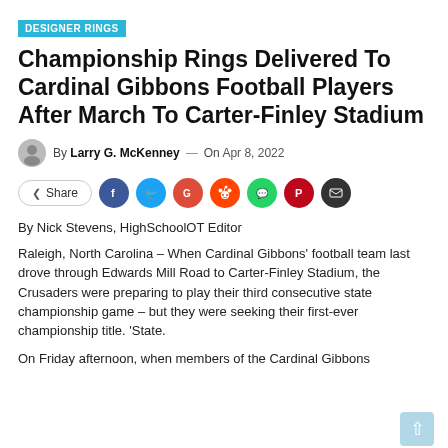DESIGNER RINGS
Championship Rings Delivered To Cardinal Gibbons Football Players After March To Carter-Finley Stadium
By Larry G. McKenney — On Apr 8, 2022
[Figure (infographic): Social share buttons: Share, Facebook, Twitter, Google, Reddit, WhatsApp, Pinterest, Email]
By Nick Stevens, HighSchoolOT Editor
Raleigh, North Carolina – When Cardinal Gibbons' football team last drove through Edwards Mill Road to Carter-Finley Stadium, the Crusaders were preparing to play their third consecutive state championship game – but they were seeking their first-ever championship title. 'State.
On Friday afternoon, when members of the Cardinal Gibbons